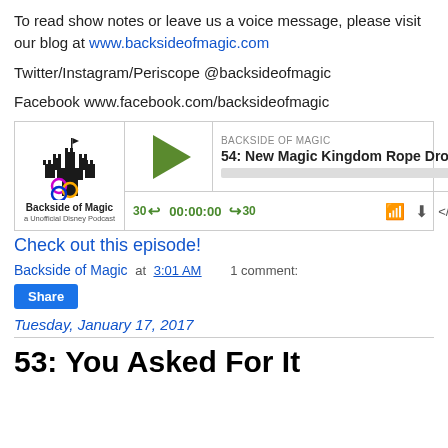To read show notes or leave us a voice message, please visit our blog at www.backsideofmagic.com
Twitter/Instagram/Periscope @backsideofmagic
Facebook www.facebook.com/backsideofmagic
[Figure (screenshot): Podcast player widget for Backside of Magic, episode 54: New Magic Kingdom Rope Drop St... with play button, progress bar, and controls showing 30 rewind, 00:00:00, forward 30, and icons for RSS, download, embed, and settings.]
Check out this episode!
Backside of Magic at 3:01 AM   1 comment:
Share
Tuesday, January 17, 2017
53: You Asked For It